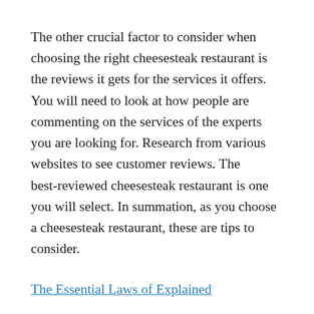The other crucial factor to consider when choosing the right cheesesteak restaurant is the reviews it gets for the services it offers. You will need to look at how people are commenting on the services of the experts you are looking for. Research from various websites to see customer reviews. The best-reviewed cheesesteak restaurant is one you will select. In summation, as you choose a cheesesteak restaurant, these are tips to consider.
The Essential Laws of Explained
Smart Ideas: Revisited